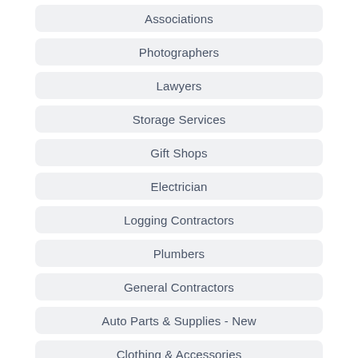Associations
Photographers
Lawyers
Storage Services
Gift Shops
Electrician
Logging Contractors
Plumbers
General Contractors
Auto Parts & Supplies - New
Clothing & Accessories
Furniture